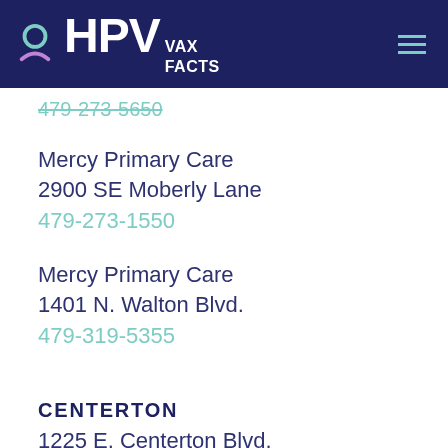HPV VAX FACTS
479-273-5650
Mercy Primary Care
2900 SE Moberly Lane
479-273-1550
Mercy Primary Care
1401 N. Walton Blvd.
479-319-5355
CENTERTON
1225 E. Centerton Blvd.
479-795-1301